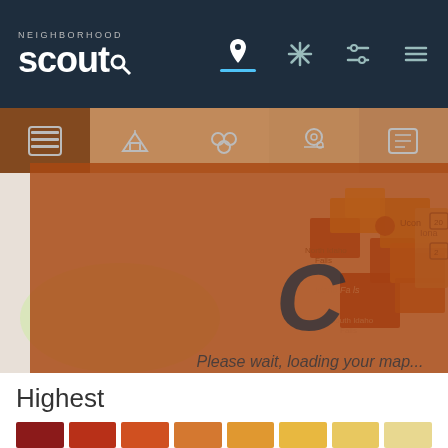Neighborhood Scout - navigation bar with logo and icons
[Figure (map): Interactive neighborhood map of Idaho Falls / Shelley area in Idaho, showing colored crime or quality overlays in shades of dark red, orange, yellow, and tan. A loading overlay with a large 'C' spinner and text 'Please wait, loading your map...' is displayed. Place names visible include Ucon, Iona, North Idaho Falls, Idaho Falls, South Idaho Falls, Shelley. Route markers for US-20, US-26, I-15 visible.]
Highest
[Figure (infographic): Color gradient bar showing spectrum from dark red/maroon on the left through orange to light yellow/tan on the right, representing highest to lowest neighborhood scores.]